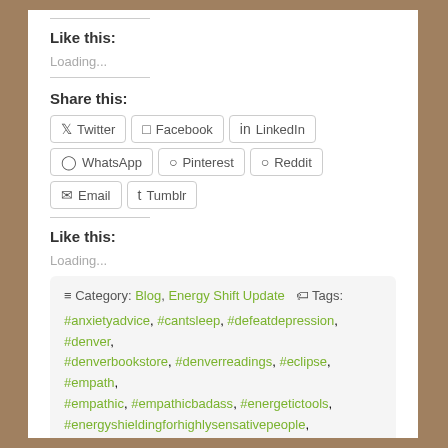Like this:
Loading...
Share this:
Twitter
Facebook
LinkedIn
WhatsApp
Pinterest
Reddit
Email
Tumblr
Like this:
Loading...
Category: Blog, Energy Shift Update   Tags: #anxietyadvice, #cantsleep, #defeatdepression, #denver, #denverbookstore, #denverreadings, #eclipse, #empath, #empathic, #empathicbadass, #energetictools, #energyshieldingforhighlysensativepeople,